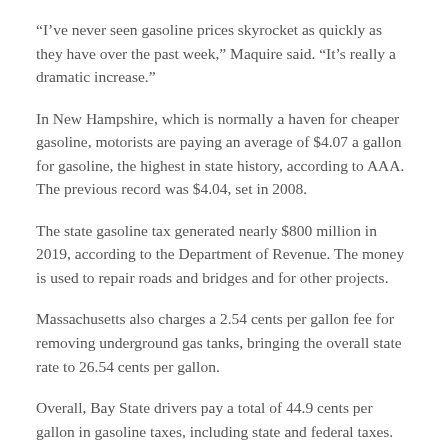“I’ve never seen gasoline prices skyrocket as quickly as they have over the past week,” Maquire said. “It’s really a dramatic increase.”
In New Hampshire, which is normally a haven for cheaper gasoline, motorists are paying an average of $4.07 a gallon for gasoline, the highest in state history, according to AAA. The previous record was $4.04, set in 2008.
The state gasoline tax generated nearly $800 million in 2019, according to the Department of Revenue. The money is used to repair roads and bridges and for other projects.
Massachusetts also charges a 2.54 cents per gallon fee for removing underground gas tanks, bringing the overall state rate to 26.54 cents per gallon.
Overall, Bay State drivers pay a total of 44.9 cents per gallon in gasoline taxes, including state and federal taxes.